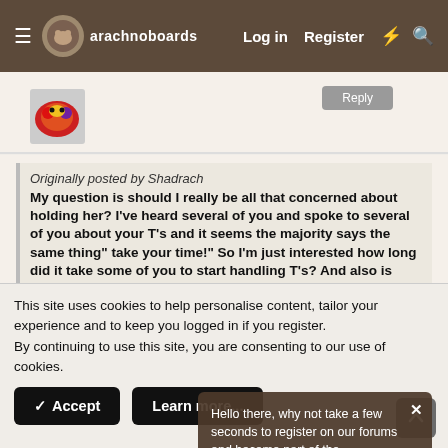arachnoboards  Log in  Register
[Figure (screenshot): User avatar thumbnail with colorful spider/tarantula image]
Originally posted by Shadrach
My question is should I really be all that concerned about holding her? I've heard several of you and spoke to several of you about your T's and it seems the majority says the same thing" take your time!" So I'm just interested how long did it take some of you to start handling T's? And also is there something wrong with me for being so...
There is nothing wrong with you. Many people abstain completely from holding their tarantulas, and the tarantulas don't feel at all deprived. You should not feel obliged
Hello there, why not take a few seconds to register on our forums and become part of the community? Just click here.
This site uses cookies to help personalise content, tailor your experience and to keep you logged in if you register.
By continuing to use this site, you are consenting to our use of cookies.